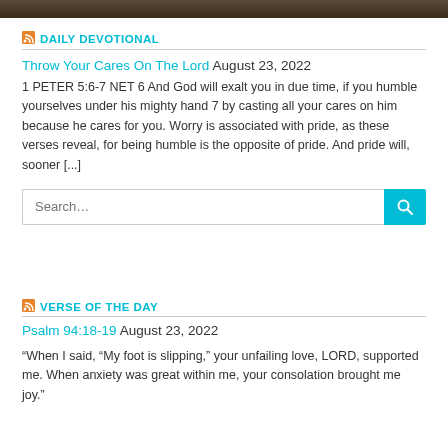[Figure (photo): Top image strip — partial dark photo visible at the very top of the page]
DAILY DEVOTIONAL
Throw Your Cares On The Lord August 23, 2022
1 PETER 5:6-7 NET 6 And God will exalt you in due time, if you humble yourselves under his mighty hand 7 by casting all your cares on him because he cares for you. Worry is associated with pride, as these verses reveal, for being humble is the opposite of pride. And pride will, sooner [...]
VERSE OF THE DAY
Psalm 94:18-19 August 23, 2022
“When I said, “My foot is slipping,” your unfailing love, LORD, supported me. When anxiety was great within me, your consolation brought me joy.”